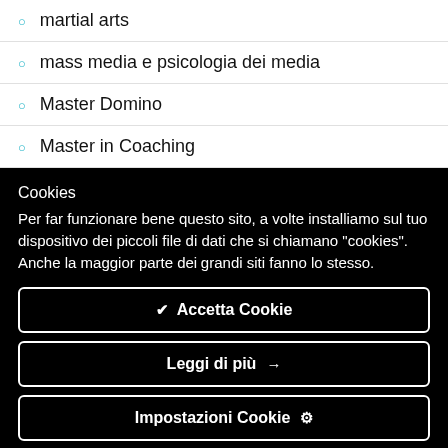martial arts
mass media e psicologia dei media
Master Domino
Master in Coaching
Cookies
Per far funzionare bene questo sito, a volte installiamo sul tuo dispositivo dei piccoli file di dati che si chiamano "cookies". Anche la maggior parte dei grandi siti fanno lo stesso.
✔ Accetta Cookie
Leggi di più →
Impostazioni Cookie ⚙
Metodo ALM